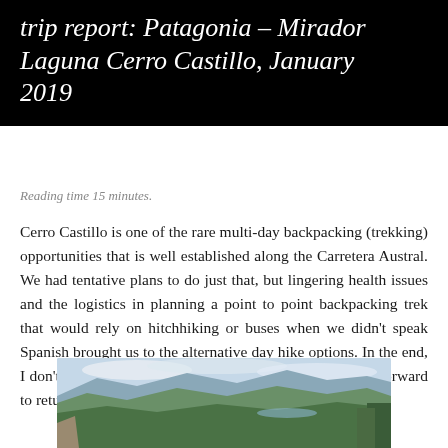trip report: Patagonia – Mirador Laguna Cerro Castillo, January 2019
Reading time 15 minutes.
Cerro Castillo is one of the rare multi-day backpacking (trekking) opportunities that is well established along the Carretera Austral. We had tentative plans to do just that, but lingering health issues and the logistics in planning a point to point backpacking trek that would rely on hitchhiking or buses when we didn't speak Spanish brought us to the alternative day hike options. In the end, I don't feel like I missed out and at the same time, I look forward to returning to do the trek.
[Figure (photo): Panoramic landscape photograph of a mountainous valley in Patagonia, showing green hills, a winding river or lake in the distance, and a partly cloudy sky.]